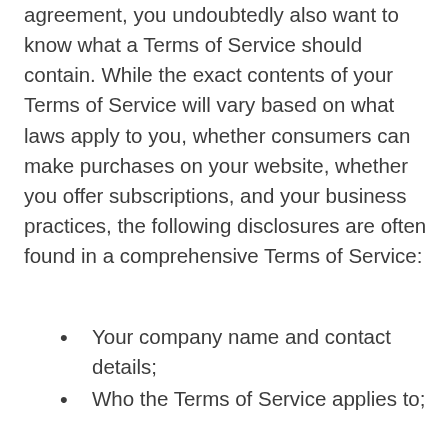agreement, you undoubtedly also want to know what a Terms of Service should contain. While the exact contents of your Terms of Service will vary based on what laws apply to you, whether consumers can make purchases on your website, whether you offer subscriptions, and your business practices, the following disclosures are often found in a comprehensive Terms of Service:
Your company name and contact details;
Who the Terms of Service applies to;